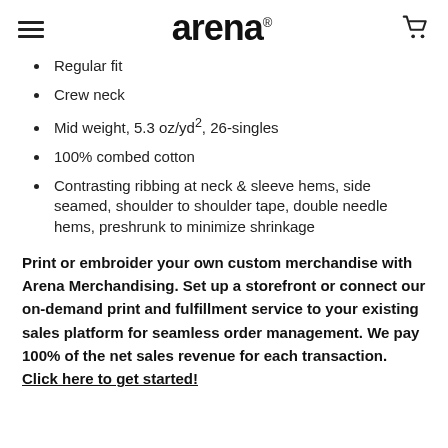arena
Regular fit
Crew neck
Mid weight, 5.3 oz/yd², 26-singles
100% combed cotton
Contrasting ribbing at neck & sleeve hems, side seamed, shoulder to shoulder tape, double needle hems, preshrunk to minimize shrinkage
Print or embroider your own custom merchandise with Arena Merchandising. Set up a storefront or connect our on-demand print and fulfillment service to your existing sales platform for seamless order management. We pay 100% of the net sales revenue for each transaction.
Click here to get started!